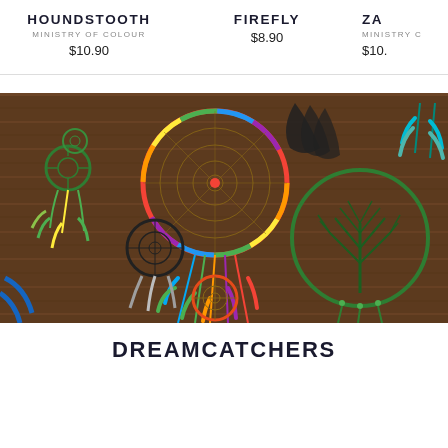HOUNDSTOOTH
MINISTRY OF COLOUR
$10.90
FIREFLY
$8.90
ZA
MINISTRY C
$10.
[Figure (photo): Collection of colorful dreamcatchers arranged on a wooden background, featuring various sizes and colors including rainbow, green tree-of-life, black feather, and blue dreamcatchers.]
DREAMCATCHERS